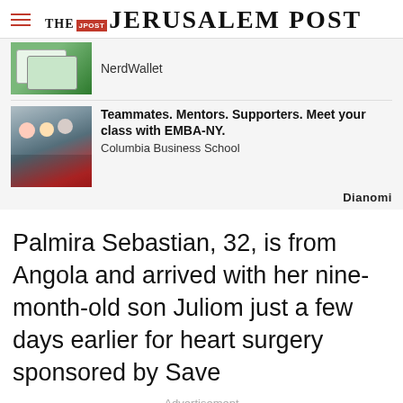THE JERUSALEM POST
[Figure (screenshot): NerdWallet advertisement with green credit card image and NerdWallet text]
[Figure (photo): Columbia Business School EMBA-NY advertisement with group of students photo. Text: Teammates. Mentors. Supporters. Meet your class with EMBA-NY. Columbia Business School. Dianomi.]
Palmira Sebastian, 32, is from Angola and arrived with her nine-month-old son Juliom just a few days earlier for heart surgery sponsored by Save
Advertisement
[Figure (screenshot): Video ad thumbnail showing medical imagery with play button. Text: What They Didn't Want You Knowing About Metformin - Ad]